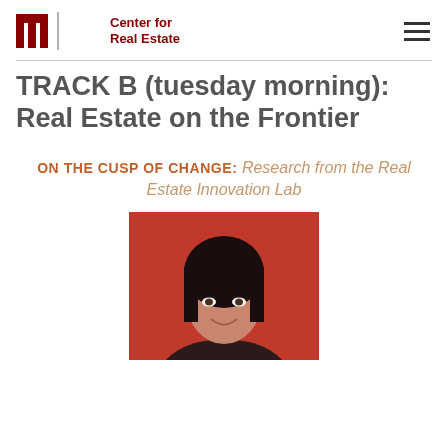MIT Center for Real Estate
TRACK B (tuesday morning): Real Estate on the Frontier
ON THE CUSP OF CHANGE: Research from the Real Estate Innovation Lab
[Figure (photo): Headshot of a woman with dark hair smiling, against a red background]